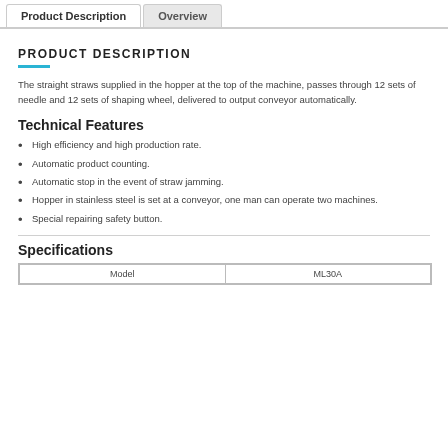Product Description | Overview
PRODUCT DESCRIPTION
The straight straws supplied in the hopper at the top of the machine, passes through 12 sets of needle and 12 sets of shaping wheel, delivered to output conveyor automatically.
Technical Features
High efficiency and high production rate.
Automatic product counting.
Automatic stop in the event of straw jamming.
Hopper in stainless steel is set at a conveyor, one man can operate two machines.
Special repairing safety button.
Specifications
| Model | ML30A |
| --- | --- |